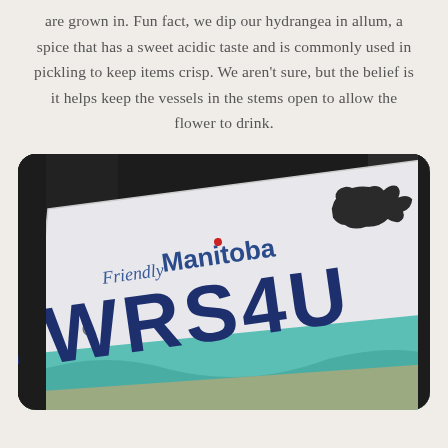are grown in. Fun fact, we dip our hydrangea in allum, a spice that has a sweet acidic taste and is commonly used in pickling to keep items crisp. We aren't sure, but the belief is it helps keep the vessels in the stems open to allow the flower to drink.
[Figure (photo): Close-up photo of a Manitoba license plate showing 'Friendly Manitoba' text and partial plate number 'WRS4U' with a bison silhouette in the top right corner and teal/green scenic design at the bottom.]